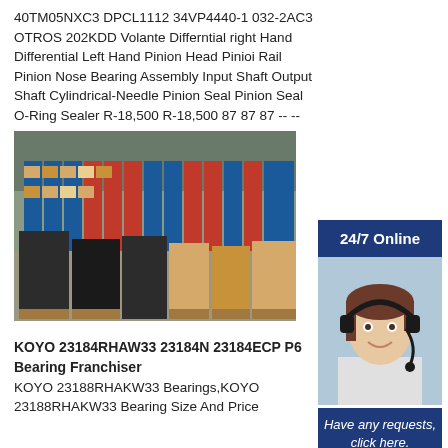40TM05NXC3 DPCL1112 34VP4440-1 032-2AC3 OTROS 202KDD Volante Differntial right Hand Differential Left Hand Pinion Head Pinioi Rail Pinion Nose Bearing Assembly Input Shaft Output Shaft Cylindrical-Needle Pinion Seal Pinion Seal O-Ring Sealer R-18,500 R-18,500 87 87 87 -- --
[Figure (photo): Warehouse interior with shelving units stocked with red and blue shelves holding cardboard boxes, and pallets with dark and tan boxes in the foreground on the warehouse floor.]
KOYO 23184RHAW33 23184N 23184ECP P6 Bearing Franchiser
KOYO 23188RHAKW33 Bearings,KOYO 23188RHAKW33 Bearing Size And Price
24/7 Online
[Figure (photo): Customer service agent, a smiling woman wearing a headset with microphone, depicted against a blue-grey background representing 24/7 online support.]
Have any requests, click here.
Quotation